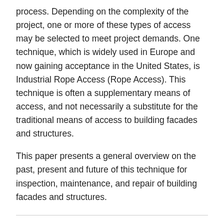process. Depending on the complexity of the project, one or more of these types of access may be selected to meet project demands. One technique, which is widely used in Europe and now gaining acceptance in the United States, is Industrial Rope Access (Rope Access). This technique is often a supplementary means of access, and not necessarily a substitute for the traditional means of access to building facades and structures.
This paper presents a general overview on the past, present and future of this technique for inspection, maintenance, and repair of building facades and structures.
Author Information
Vossoughi, H
Ropelink Ltd, New York, NY
Siddiqui, R